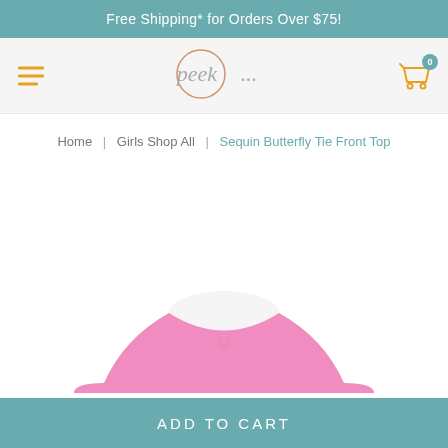Free Shipping* for Orders Over $75!
[Figure (logo): Peek... brand logo with circle and script text]
Home | Girls Shop All | Sequin Butterfly Tie Front Top
[Figure (photo): Pink girls top (Sequin Butterfly Tie Front Top) — upper neckline portion visible at bottom of image area]
ADD TO CART